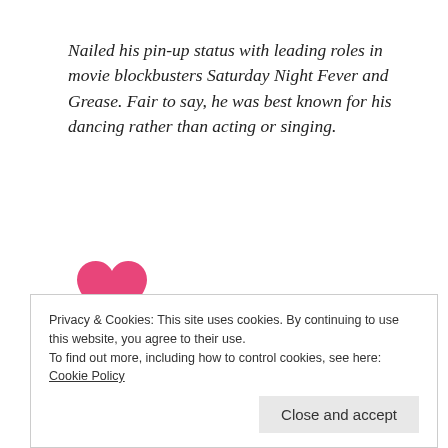Nailed his pin-up status with leading roles in movie blockbusters Saturday Night Fever and Grease. Fair to say, he was best known for his dancing rather than acting or singing.
[Figure (illustration): Pink heart icon (first)]
[Figure (illustration): Pink heart icon (second)]
[Figure (illustration): Pink heart icon (third, partially visible)]
Privacy & Cookies: This site uses cookies. By continuing to use this website, you agree to their use.
To find out more, including how to control cookies, see here: Cookie Policy
Close and accept